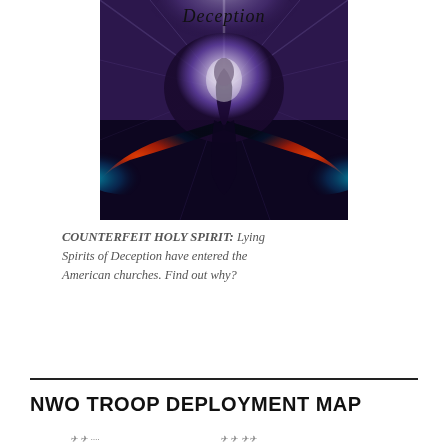[Figure (illustration): Book cover image showing a stylized bird/dove with glowing red and cyan wings against a dark purple/black background with radiating light beams and 'Deception' text in calligraphy at the top.]
COUNTERFEIT HOLY SPIRIT: Lying Spirits of Deception have entered the American churches. Find out why?
NWO TROOP DEPLOYMENT MAP
[Figure (map): Partial view of a map, barely visible at the bottom of the page.]